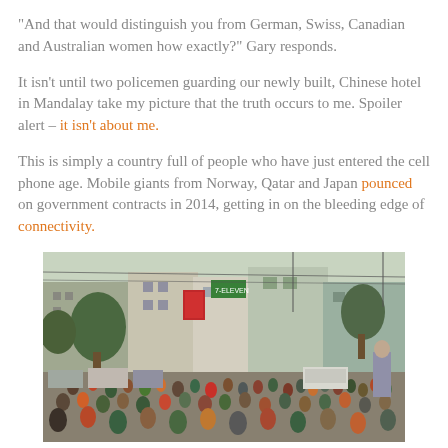“And that would distinguish you from German, Swiss, Canadian and Australian women how exactly?” Gary responds.
It isn’t until two policemen guarding our newly built, Chinese hotel in Mandalay take my picture that the truth occurs to me. Spoiler alert – it isn’t about me.
This is simply a country full of people who have just entered the cell phone age. Mobile giants from Norway, Qatar and Japan pounced on government contracts in 2014, getting in on the bleeding edge of connectivity.
[Figure (photo): A crowded street scene in Mandalay, Myanmar, with a large crowd of people, street vendors, buildings with signs, trees, and power lines visible.]